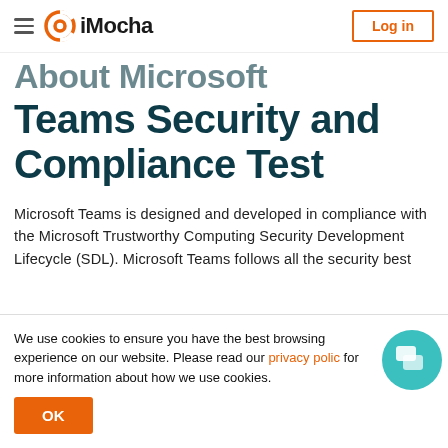iMocha — Log in
About Microsoft Teams Security and Compliance Test
Microsoft Teams is designed and developed in compliance with the Microsoft Trustworthy Computing Security Development Lifecycle (SDL). Microsoft Teams follows all the security best
We use cookies to ensure you have the best browsing experience on our website. Please read our privacy policy for more information about how we use cookies.
OK